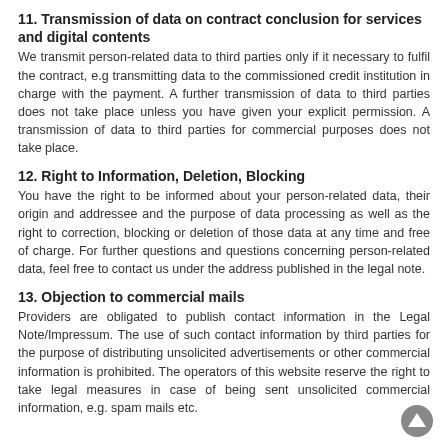11. Transmission of data on contract conclusion for services and digital contents
We transmit person-related data to third parties only if it necessary to fulfil the contract, e.g transmitting data to the commissioned credit institution in charge with the payment. A further transmission of data to third parties does not take place unless you have given your explicit permission. A transmission of data to third parties for commercial purposes does not take place.
12. Right to Information, Deletion, Blocking
You have the right to be informed about your person-related data, their origin and addressee and the purpose of data processing as well as the right to correction, blocking or deletion of those data at any time and free of charge. For further questions and questions concerning person-related data, feel free to contact us under the address published in the legal note.
13. Objection to commercial mails
Providers are obligated to publish contact information in the Legal Note/Impressum. The use of such contact information by third parties for the purpose of distributing unsolicited advertisements or other commercial information is prohibited. The operators of this website reserve the right to take legal measures in case of being sent unsolicited commercial information, e.g. spam mails etc.